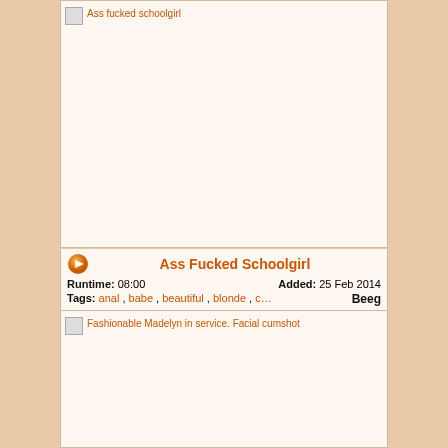[Figure (photo): Video thumbnail placeholder for 'Ass fucked schoolgirl' - blank/broken image]
Ass fucked schoolgirl
Ass Fucked Schoolgirl
Runtime: 08:00   Added: 25 Feb 2014
Tags: anal , babe , beautiful , blonde , c…   Beeg
[Figure (photo): Video thumbnail placeholder for 'Fashionable Madelyn in service. Facial cumshot' - blank/broken image]
Fashionable Madelyn in service. Facial cumshot